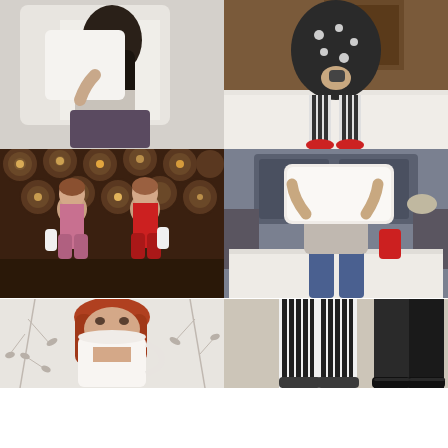[Figure (photo): A woman with dark hair hiding her face behind a white pillow, sitting on a bed in a bedroom setting, wearing a patterned skirt.]
[Figure (photo): A child in polka dot pajamas and striped leggings with red-toed socks sitting on a white bed, holding something small.]
[Figure (photo): Two young girls in pajamas (pink and red) standing in front of a warm glowing wooden log wall background, each holding a bottle.]
[Figure (photo): A person on a bed with a pillow over their head, wearing jeans, with a bedroom background showing a headboard and nightstand.]
[Figure (photo): A red-haired girl holding a white mug in front of her face, against a light background with branch patterns.]
[Figure (photo): Close-up of a person's legs wearing black and white striped leggings, standing next to someone in dark pants and shoes, on a carpet.]